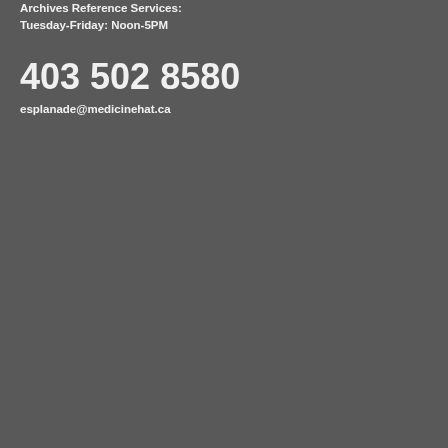Archives Reference Services:
Tuesday-Friday: Noon-5PM
403 502 8580
esplanade@medicinehat.ca